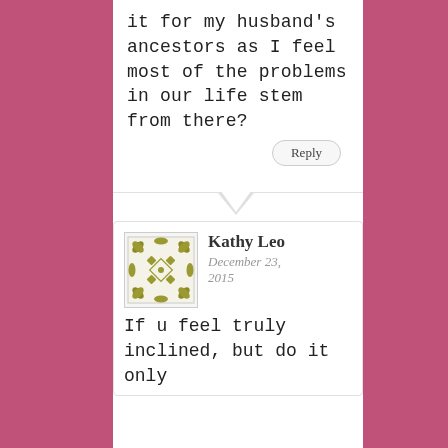it for my husband's ancestors as I feel most of the problems in our life stem from there?
Reply
[Figure (illustration): Decorative quilt-pattern avatar image with olive/gold leaf and geometric diamond motifs on white background, square with border]
Kathy Leo
December 23, 2015
If u feel truly inclined, but do it only